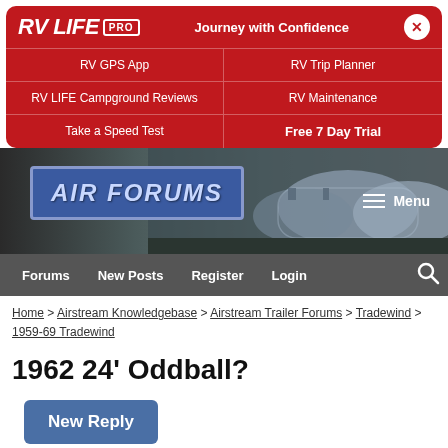[Figure (screenshot): RV LIFE PRO promotional banner with red background showing navigation links: RV GPS App, RV Trip Planner, RV LIFE Campground Reviews, RV Maintenance, Take a Speed Test, Free 7 Day Trial]
[Figure (screenshot): Air Forums website header with logo on dark background showing Airstream trailers, with Menu button]
[Figure (screenshot): Navigation bar with Forums, New Posts, Register, Login, and search icon]
Home > Airstream Knowledgebase > Airstream Trailer Forums > Tradewind > 1959-69 Tradewind
1962 24' Oddball?
[Figure (screenshot): New Reply button in blue]
[Figure (screenshot): Pagination showing Page 1 of 2 and Next button with close X]